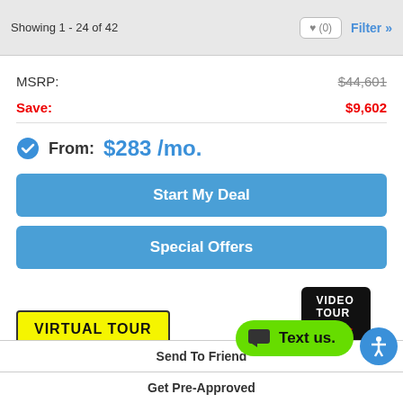Showing 1 - 24 of 42
| Label | Value |
| --- | --- |
| MSRP: | $44,601 |
| Save: | $9,602 |
From: $283 /mo.
Start My Deal
Special Offers
[Figure (other): VIDEO TOUR button with red arrows]
[Figure (other): VIRTUAL TOUR yellow button with cursor icon]
Send To Friend
Get Pre-Approved